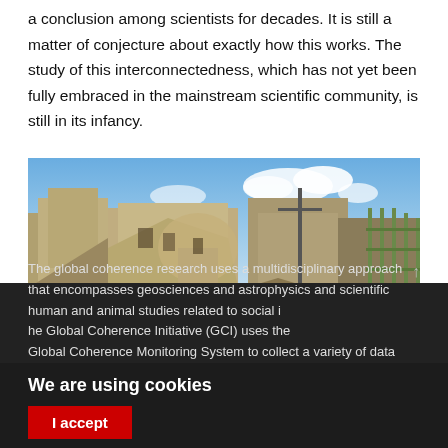a conclusion among scientists for decades. It is still a matter of conjecture about exactly how this works. The study of this interconnectedness, which has not yet been fully embraced in the mainstream scientific community, is still in its infancy.
[Figure (photo): Photograph of earthquake-destroyed buildings with rubble and debris in foreground, partially collapsed walls and structures, blue sky with clouds in background.]
The global coherence research uses a multidisciplinary approach that encompasses geosciences and astrophysics and scientific human and animal studies related to social i... he Global Coherence Initiative (GCI) uses the Global Coherence Monitoring System to collect a variety of data
We are using cookies
I accept